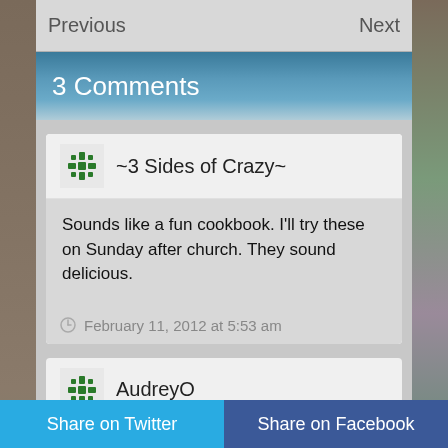Previous   Next
3 Comments
~3 Sides of Crazy~
Sounds like a fun cookbook. I'll try these on Sunday after church. They sound delicious.
February 11, 2012 at 5:53 am
AudreyO
Share on Twitter   Share on Facebook